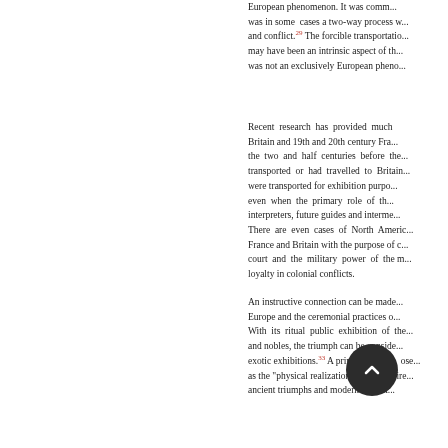European phenomenon. It was comm... was in some cases a two-way process w... and conflict.29 The forcible transportatio... may have been an intrinsic aspect of th... was not an exclusively European pheno...
Recent research has provided much... Britain and 19th and 20th century Fra... the two and half centuries before the... transported or had travelled to Britain... were transported for exhibition purpo... even when the primary role of the... interpreters, future guides and interme... There are even cases of North Americ... France and Britain with the purpose o... court and the military power of the m... loyalty in colonial conflicts.
An instructive connection can be mad... Europe and the ceremonial practices o... With its ritual public exhibition of the... and nobles, the triumph can be conside... exotic exhibitions.33 A prima...ose... as the "physical realization of Empire... ancient triumphs and modern exhibit...